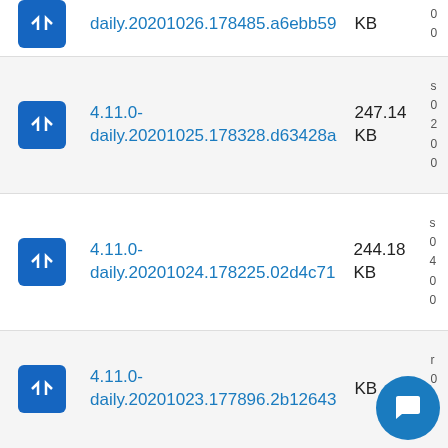daily.20201026.178485.a6ebb59  KB
4.11.0-daily.20201025.178328.d63428a  247.14 KB
4.11.0-daily.20201024.178225.02d4c71  244.18 KB
4.11.0-daily.20201023.177896.2b12643  KB